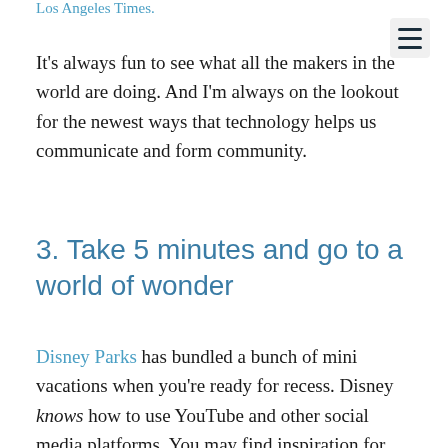Los Angeles Times.
It's always fun to see what all the makers in the world are doing. And I'm always on the lookout for the newest ways that technology helps us communicate and form community.
3. Take 5 minutes and go to a world of wonder
Disney Parks has bundled a bunch of mini vacations when you're ready for recess. Disney knows how to use YouTube and other social media platforms. You may find inspiration for your own business social media plans, but remember